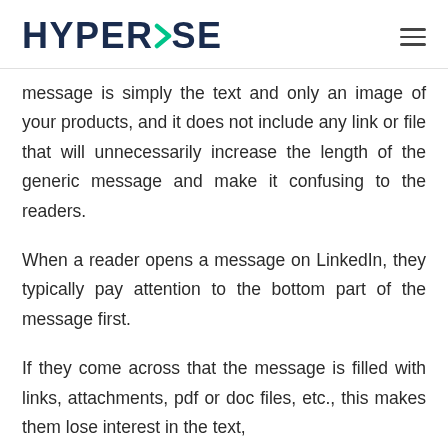HYPERISE
message is simply the text and only an image of your products, and it does not include any link or file that will unnecessarily increase the length of the generic message and make it confusing to the readers.
When a reader opens a message on LinkedIn, they typically pay attention to the bottom part of the message first.
If they come across that the message is filled with links, attachments, pdf or doc files, etc., this makes them lose interest in the text,